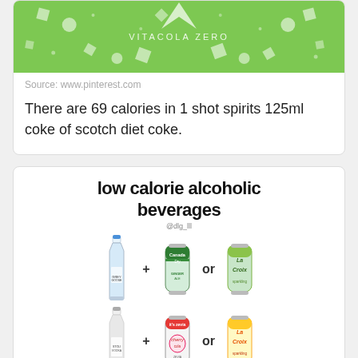[Figure (illustration): Green banner with white geometric shapes and text VITACOLA ZERO]
Source: www.pinterest.com
There are 69 calories in 1 shot spirits 125ml coke of scotch diet coke.
[Figure (infographic): Low calorie alcoholic beverages infographic showing vodka + Canada Dry or La Croix, and another vodka + soda or La Croix combination. Title: low calorie alcoholic beverages. Handle: @dlg_lll]